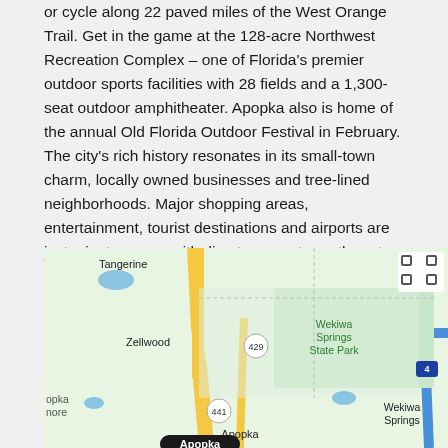or cycle along 22 paved miles of the West Orange Trail. Get in the game at the 128-acre Northwest Recreation Complex – one of Florida's premier outdoor sports facilities with 28 fields and a 1,300-seat outdoor amphitheater. Apopka also is home of the annual Old Florida Outdoor Festival in February. The city's rich history resonates in its small-town charm, locally owned businesses and tree-lined neighborhoods. Major shopping areas, entertainment, tourist destinations and airports are just minutes away with direct access to northwest Central Florida's growing highway system. via visitflorida.com
[Figure (map): Google Maps screenshot showing the area around Apopka, Florida, with labels for Tangerine, Zellwood, Wekiwa Springs State Park, Wekiwa Springs, and a black pin/label for Apopka. Roads 429, 441, and Interstate 4 are visible.]